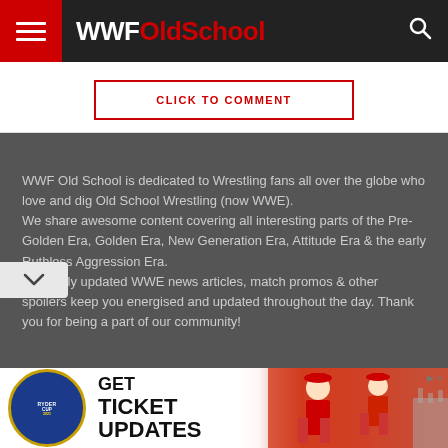WWFOldSchool
CLICK TO COMMENT
WWF Old School is dedicated to Wrestling fans all over the globe who love and dig Old School Wrestling (now WWE).
We share awesome content covering all interesting parts of the Pre-Golden Era, Golden Era, New Generation Era, Attitude Era & the early Ruthless Aggression Era.
Regularly updated WWE news articles, match promos & other spoilers keep you energised and updated throughout the day. Thank you for being a part of our community!
[Figure (screenshot): Ryder Cup advertisement banner with logo and golfers, text: GET TICKET UPDATES]